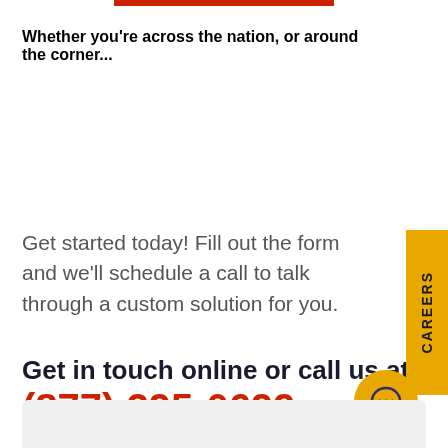Whether you're across the nation, or around the corner...
Get started today! Fill out the form and we'll schedule a call to talk through a custom solution for you.
Get in touch online or call us at (877) 295-0699
[Figure (other): CAREERS vertical tab on right side, gold background]
[Figure (other): Yellow circular chat bubble icon]